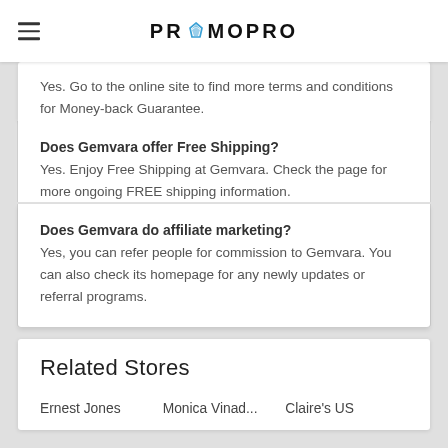PROMOPRO
Yes. Go to the online site to find more terms and conditions for Money-back Guarantee.
Does Gemvara offer Free Shipping?
Yes. Enjoy Free Shipping at Gemvara. Check the page for more ongoing FREE shipping information.
Does Gemvara do affiliate marketing?
Yes, you can refer people for commission to Gemvara. You can also check its homepage for any newly updates or referral programs.
Related Stores
Ernest Jones   Monica Vinad...   Claire's US